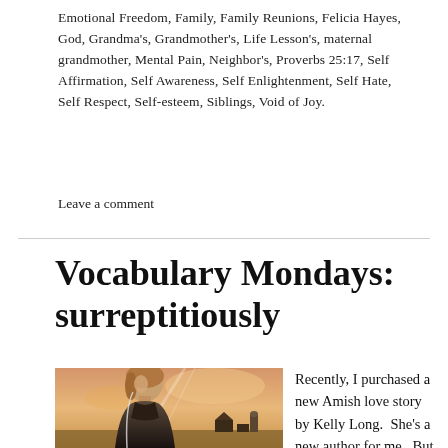Emotional Freedom, Family, Family Reunions, Felicia Hayes, God, Grandma's, Grandmother's, Life Lesson's, maternal grandmother, Mental Pain, Neighbor's, Proverbs 25:17, Self Affirmation, Self Awareness, Self Enlightenment, Self Hate, Self Respect, Self-esteem, Siblings, Void of Joy.
Leave a comment
Vocabulary Mondays: surreptitiously
[Figure (photo): Portrait of a young woman in dark clothing against a warm sunset sky with farm buildings in background]
Recently, I purchased a new Amish love story by Kelly Long. She's a new author for me. But I needed something to read and enjoy during moments of downtime. And the